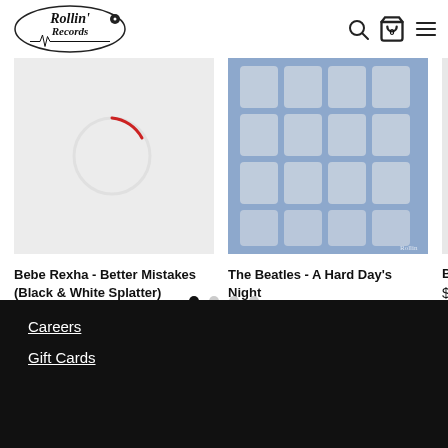[Figure (logo): Rollin Records logo with cursive text and vinyl record graphic]
[Figure (photo): Bebe Rexha album cover - Better Mistakes (Black & White Splatter) - light grey background with circular outline]
Bebe Rexha - Better Mistakes (Black & White Splatter)
$24.99
[Figure (photo): The Beatles - A Hard Day's Night album cover - blue toned grid of Beatles photos]
The Beatles - A Hard Day's Night
$29.99
[Figure (photo): Partial third album product card (cropped off page)]
$
Careers
Gift Cards